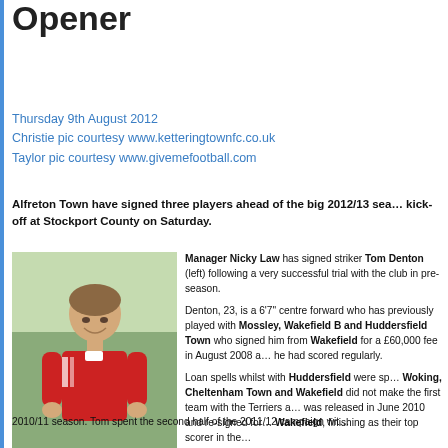Opener
Thursday 9th August 2012
Christie pic courtesy www.ketteringtownfc.co.uk
Taylor pic courtesy www.givemefootball.com
Alfreton Town have signed three players ahead of the big 2012/13 sea… kick-off at Stockport County on Saturday.
[Figure (photo): Tom Denton in red football kit, smiling, standing outdoors]
Manager Nicky Law has signed striker Tom Denton (left) following a very successful trial with the club in pre-season. Denton, 23, is a 6'7" centre forward who has previously played with Mossley, Wakefield B and Huddersfield Town who signed him from Wakefield for a £60,000 fee in August 2008 a… he had scored regularly. Loan spells whilst with Huddersfield were sp… Woking, Cheltenham Town and Wakefield did not make the first team with the Terriers a… was released in June 2010 and re-signed fo… Wakefield, finishing as their top scorer in the… 2010/11 season. Tom spent the second half of the 2011/12 campaign wit…